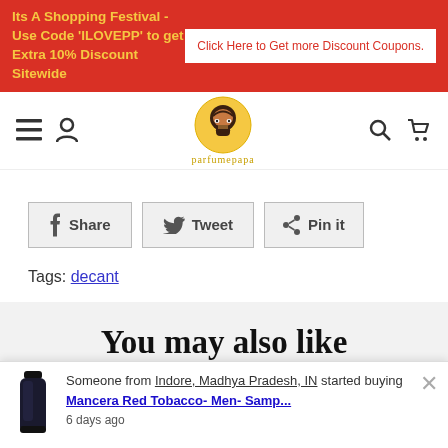Its A Shopping Festival - Use Code 'ILOVEPP' to get Extra 10% Discount Sitewide | Click Here to Get more Discount Coupons.
[Figure (logo): Perfumepapa logo: cartoon bearded man with yellow halo, site name below]
f Share   Tweet   Pin it
Tags: decant
You may also like
Customers who bought this item also bought
Someone from Indore, Madhya Pradesh, IN started buying Mancera Red Tobacco- Men- Samp... 6 days ago